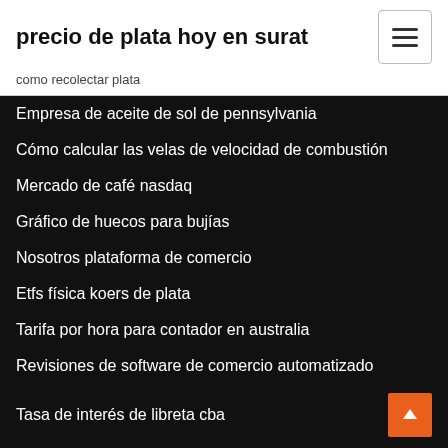precio de plata hoy en surat
como recolectar plata
Empresa de aceite de sol de pennsylvania
Cómo calcular las velas de velocidad de combustión
Mercado de café nasdaq
Gráfico de huecos para bujías
Nosotros plataforma de comercio
Etfs física koers de plata
Tarifa por hora para contador en australia
Revisiones de software de comercio automatizado
Tasa de interés de libreta cba
Finanzas yahoo cac índice tabla interactiva